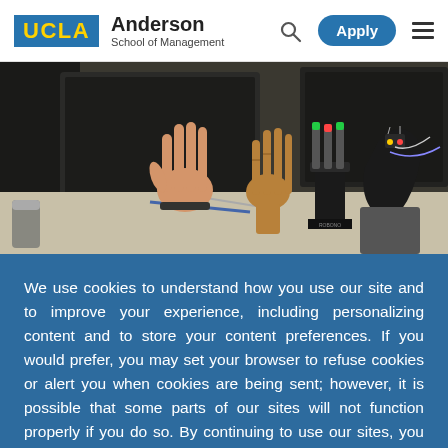UCLA Anderson School of Management
[Figure (photo): Photo of robotic and prosthetic hands on a desk with computers and electronic equipment in background. Shows a prosthetic human-like hand, a wooden articulated hand, and a robotic gripper device, with a person wearing an electronic glove on the right.]
We use cookies to understand how you use our site and to improve your experience, including personalizing content and to store your content preferences. If you would prefer, you may set your browser to refuse cookies or alert you when cookies are being sent; however, it is possible that some parts of our sites will not function properly if you do so. By continuing to use our sites, you accept our use of cookies and revised